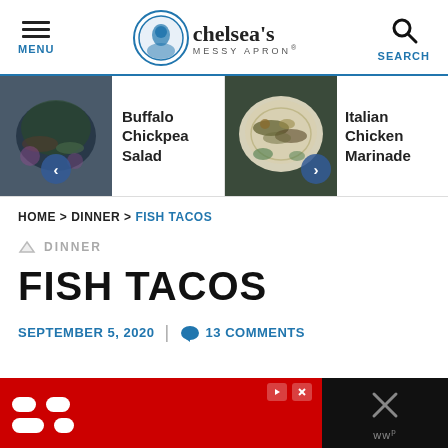MENU | chelsea's MESSY APRON® | SEARCH
[Figure (photo): Carousel showing two food items: Buffalo Chickpea Salad (left) and Italian Chicken Marinade (right) with navigation arrows]
Buffalo Chickpea Salad
Italian Chicken Marinade
HOME > DINNER > FISH TACOS
DINNER
FISH TACOS
SEPTEMBER 5, 2020  |  💬  13 COMMENTS
[Figure (screenshot): Advertisement banner at the bottom with red background and white dots icon]